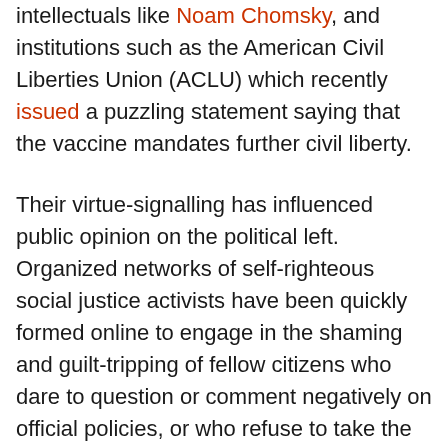intellectuals like Noam Chomsky, and institutions such as the American Civil Liberties Union (ACLU) which recently issued a puzzling statement saying that the vaccine mandates further civil liberty.
Their virtue-signalling has influenced public opinion on the political left. Organized networks of self-righteous social justice activists have been quickly formed online to engage in the shaming and guilt-tripping of fellow citizens who dare to question or comment negatively on official policies, or who refuse to take the vaccine.
For instance, comedian and political commentator Jimmy Dore faced backlash on social media when he shared his own experience of adverse side effects after getting the vaccine of the...